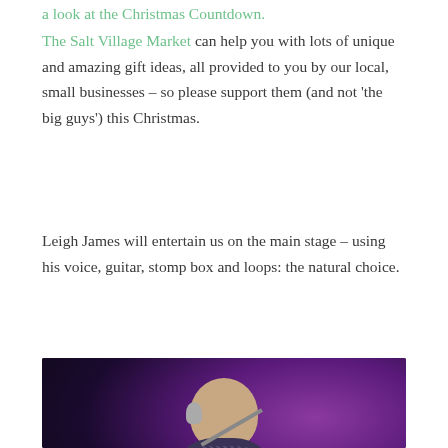a look at the Christmas Countdown.
The Salt Village Market can help you with lots of unique and amazing gift ideas, all provided to you by our local, small businesses – so please support them (and not 'the big guys') this Christmas.
Leigh James will entertain us on the main stage – using his voice, guitar, stomp box and loops: the natural choice.
[Figure (photo): A bald male performer singing into a microphone on stage with purple stage lighting in the background]